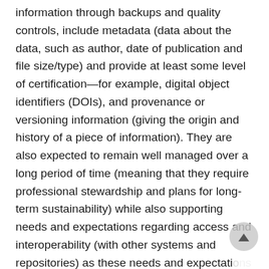information through backups and quality controls, include metadata (data about the data, such as author, date of publication and file size/type) and provide at least some level of certification—for example, digital object identifiers (DOIs), and provenance or versioning information (giving the origin and history of a piece of information). They are also expected to remain well managed over a long period of time (meaning that they require professional stewardship and plans for long-term sustainability) while also supporting needs and expectations regarding access and interoperability (with other systems and repositories) as these needs and expectations evolve over time. To recap, repositories shou...